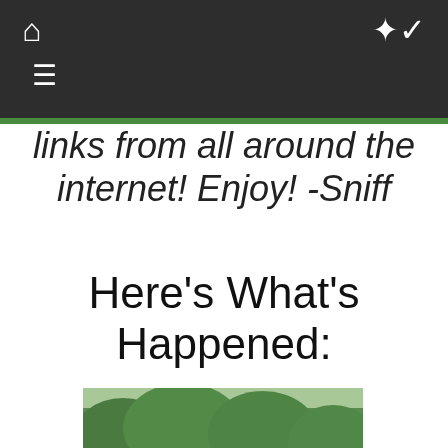Navigation bar with home and shuffle icons
links from all around the internet! Enjoy! -Sniff
Here’s What’s Happened:
[Figure (photo): Golfer walking on a course near water, wearing grey pants and white polo shirt with a cap, pumping fist, with crowd and green trees in background]